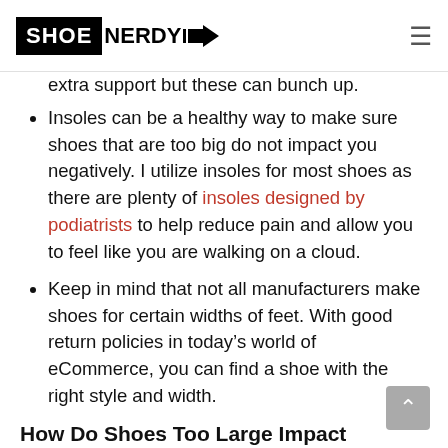SHOE NERDY
extra support but these can bunch up.
Insoles can be a healthy way to make sure shoes that are too big do not impact you negatively. I utilize insoles for most shoes as there are plenty of insoles designed by podiatrists to help reduce pain and allow you to feel like you are walking on a cloud.
Keep in mind that not all manufacturers make shoes for certain widths of feet. With good return policies in today’s world of eCommerce, you can find a shoe with the right style and width.
How Do Shoes Too Large Impact Runner Performance/Comfort